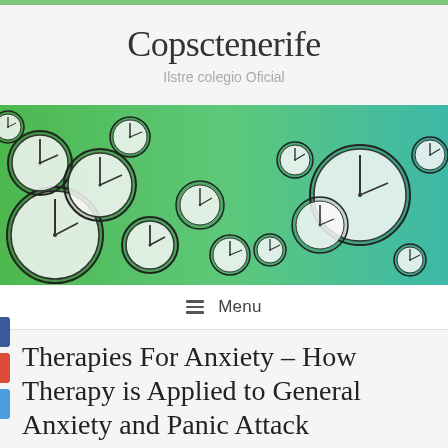Copsctenerife
Ilstre colegio Oficial
[Figure (photo): Banner image showing multiple analog clocks floating against a green to teal gradient background, densely packed on the left and more spread out toward the right]
Menu
Therapies For Anxiety – How Therapy is Applied to General Anxiety and Panic Attack Treatment